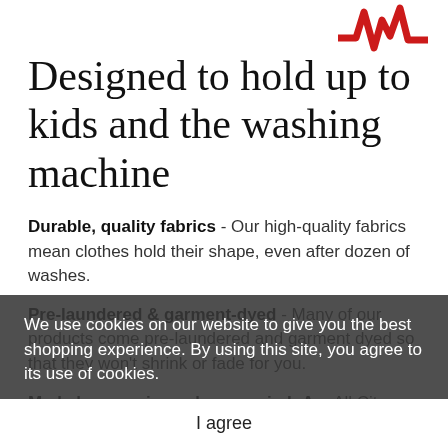[Figure (logo): Red stylized crown/lightning bolt logo in top-right corner]
Designed to hold up to kids and the washing machine
Durable, quality fabrics - Our high-quality fabrics mean clothes hold their shape, even after dozen of washes.
Pre-laundered & garment-dyed - Many of our products come pre-laundered and garment dyed so that they won't shrink or fade for you.
Made by experienced sewers in L.A. - All City Threads clothing is made in the U.S.A. where can
We use cookies on our website to give you the best shopping experience. By using this site, you agree to its use of cookies.
I agree